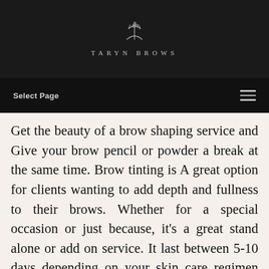TARYN BROWS
Select Page
Get the beauty of a brow shaping service and Give your brow pencil or powder a break at the same time. Brow tinting is A great option for clients wanting to add depth and fullness to their brows. Whether for a special occasion or just because, it's a great stand alone or add on service. It last between 5-10 days depending on your skin care regimen and skin type. Our most blended color is in